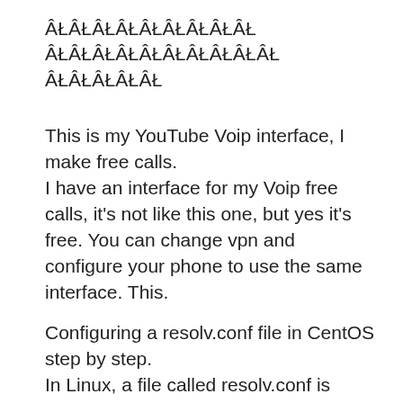ÂŁÂŁÂŁÂŁÂŁÂŁÂŁÂŁÂŁ ÂŁÂŁÂŁÂŁÂŁÂŁÂŁÂŁÂŁÂŁ ÂŁÂŁÂŁÂŁÂŁ
This is my YouTube Voip interface, I make free calls.
I have an interface for my Voip free calls, it's not like this one, but yes it's free. You can change vpn and configure your phone to use the same interface. This.
Configuring a resolv.conf file in CentOS step by step.
In Linux, a file called resolv.conf is always used to handle DNS resolution. It is a system-wide file where you can give DNS names. In the